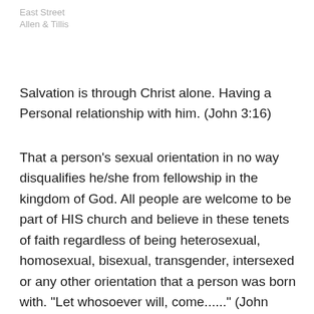East Street
Allen & Tillis
Salvation is through Christ alone. Having a Personal relationship with him. (John 3:16)
That a person's sexual orientation in no way disqualifies he/she from fellowship in the kingdom of God. All people are welcome to be part of HIS church and believe in these tenets of faith regardless of being heterosexual, homosexual, bisexual, transgender, intersexed or any other orientation that a person was born with. "Let whosoever will, come......" (John 3:15-17; Rev. 22:17)